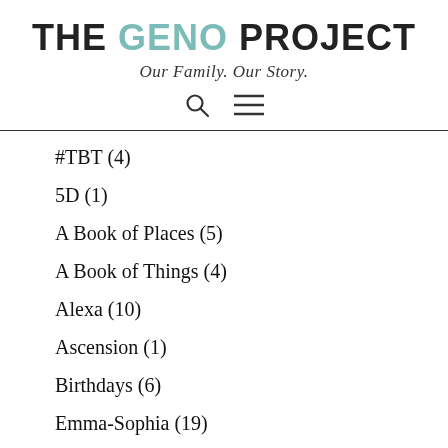THE GENO PROJECT — Our Family. Our Story.
#TBT (4)
5D (1)
A Book of Places (5)
A Book of Things (4)
Alexa (10)
Ascension (1)
Birthdays (6)
Emma-Sophia (19)